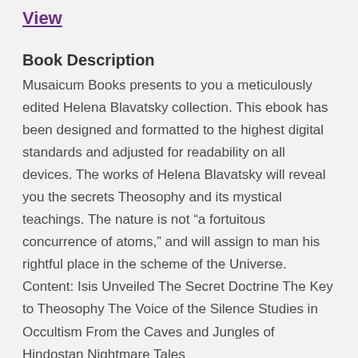View
Book Description
Musaicum Books presents to you a meticulously edited Helena Blavatsky collection. This ebook has been designed and formatted to the highest digital standards and adjusted for readability on all devices. The works of Helena Blavatsky will reveal you the secrets Theosophy and its mystical teachings. The nature is not “a fortuitous concurrence of atoms,” and will assign to man his rightful place in the scheme of the Universe. Content: Isis Unveiled The Secret Doctrine The Key to Theosophy The Voice of the Silence Studies in Occultism From the Caves and Jungles of Hindostan Nightmare Tales